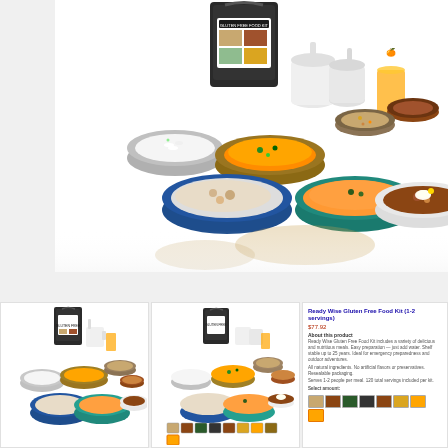[Figure (photo): Main product photo: Black bucket labeled 'Gluten Free Food Kit' with multiple bowls of prepared food (rice, curries, soups, stews) and beverages (milk, orange juice) displayed on white background.]
[Figure (photo): Thumbnail 1: Same product photo showing black bucket and multiple food bowls, smaller version.]
[Figure (photo): Thumbnail 2: Same product photo from slightly different angle with food bowls displayed.]
[Figure (screenshot): Product detail panel showing product title 'Ready Wise Gluten Free Food Kit (1-2 servings)', price $77.92, product description text, thumbnail image strip of multiple product photos.]